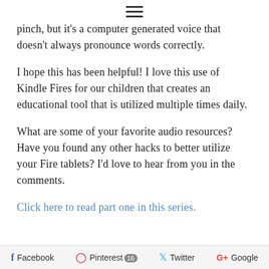≡
pinch, but it's a computer generated voice that doesn't always pronounce words correctly.
I hope this has been helpful! I love this use of Kindle Fires for our children that creates an educational tool that is utilized multiple times daily.
What are some of your favorite audio resources? Have you found any other hacks to better utilize your Fire tablets? I'd love to hear from you in the comments.
Click here to read part one in this series.
Facebook  Pinterest 16  Twitter  Google